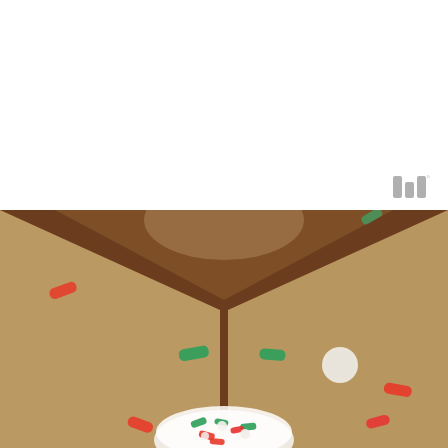[Figure (photo): Top white section with a small logo mark (stylized 'W' with degree symbol) in the bottom right corner]
[Figure (photo): Close-up photo of a gingerbread house with colorful Christmas candy sprinkles (red, green, white) on a dark brown surface. A white bowl filled with mixed holiday sprinkles is visible at the bottom center. The background shows tan/cream colored gingerbread walls and roof pieces, slightly blurred.]